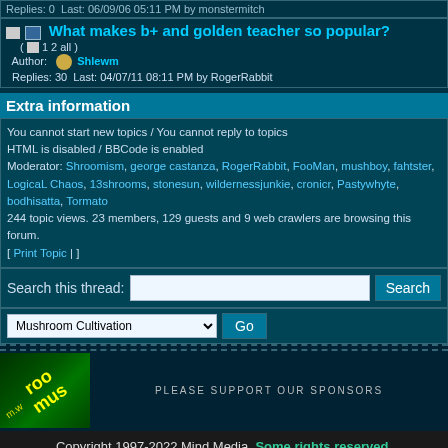Replies: 0  Last: 06/09/06 05:11 PM by monstermitch
What makes b+ and golden teacher so popular?
( 1 2 all )
Author: Shlewm
Replies: 30  Last: 04/07/11 08:11 PM by RogerRabbit
Extra information
You cannot start new topics / You cannot reply to topics
HTML is disabled / BBCode is enabled
Moderator: Shroomism, george castanza, RogerRabbit, FooMan, mushboy, fahtster, LogicaL Chaos, 13shrooms, stonesun, wildernessjunkie, cronicr, Pastywhyte, bodhisatta, Tormato
244 topic views. 23 members, 129 guests and 9 web crawlers are browsing this forum.
[ Print Topic | ]
Search this thread:
Mushroom Cultivation
[Figure (logo): Mushroom website logo rotated, green background with yellow text]
PLEASE SUPPORT OUR SPONSORS
Copyright 1997-2022 Mind Media. Some rights reserved.
Generated in 0.019 seconds spending 0.006 seconds on 13 queries.